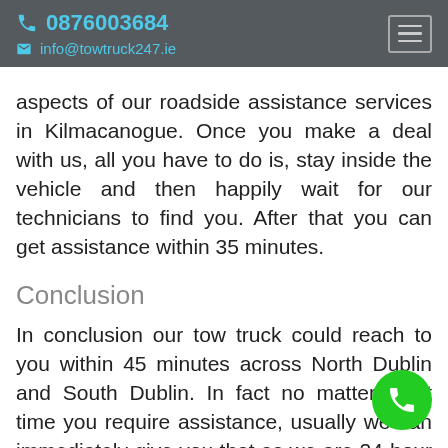📞 0876003684  ✉ info@towtruck247.ie
aspects of our roadside assistance services in Kilmacanogue. Once you make a deal with us, all you have to do is, stay inside the vehicle and then happily wait for our technicians to find you. After that you can get assistance within 35 minutes.
Conclusion
In conclusion our tow truck could reach to you within 45 minutes across North Dublin and South Dublin. In fact no matter what time you require assistance, usually we can immediately give you that as we are 24-hour available. Above all we are available 24 hours, whatever difficulty you might have, So when you need a Tow truck Kilmacanogue, simply give us a call!! We